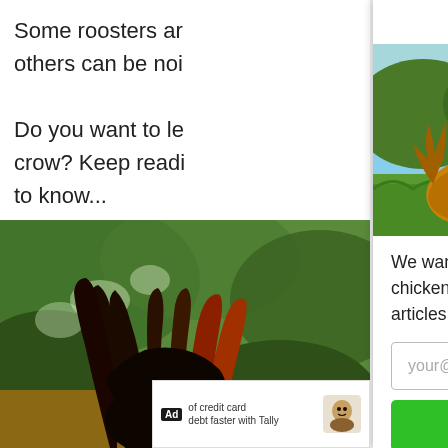Some roosters ar... others can be noi...
Do you want to le... crow? Keep readi... to know...
[Figure (photo): Rooster with black and red tail feathers viewed from behind, perched among green leaves]
NEWSLETTER!
[Figure (photo): Three chickens (two golden-brown hens and one barred/speckled hen) standing in a grassy field with trees in background]
We want to help you raise healthy, happy chickens. Get our best backyard chicken articles delivered to your inbox:
your@email.com
JOIN NOW
Ad of credit card debt faster with Tally